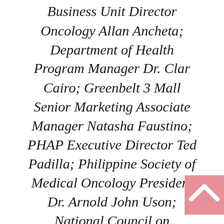Business Unit Director Oncology Allan Ancheta; Department of Health Program Manager Dr. Clar Cairo; Greenbelt 3 Mall Senior Marketing Associate Manager Natasha Faustino; PHAP Executive Director Ted Padilla; Philippine Society of Medical Oncology President Dr. Arnold John Uson; National Council on Disability Affairs Executive Director Engr. Emer Rojas; and UHC Policy Development Senior Vice President Dr. Israel Pargas)
Health advocates gathered to call for better cancer care in the Philippines through a candle-lighting ceremony held last March 10 at the Greenbelt Activity Area in Makati City.